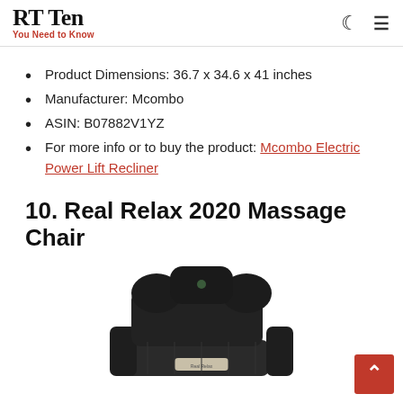RT Ten — You Need to Know
Product Dimensions: 36.7 x 34.6 x 41 inches
Manufacturer: Mcombo
ASIN: B07882V1YZ
For more info or to buy the product: Mcombo Electric Power Lift Recliner
10. Real Relax 2020 Massage Chair
[Figure (photo): Black Real Relax 2020 massage chair with headrest and armrests visible from front-side angle]